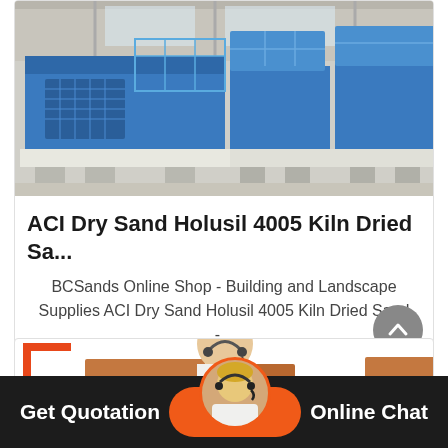[Figure (photo): Industrial blue sand processing/washing machines lined up in a factory warehouse]
ACI Dry Sand Holusil 4005 Kiln Dried Sa...
BCSands Online Shop - Building and Landscape Supplies ACI Dry Sand Holusil 4005 Kiln Dried Sand -...
[Figure (photo): Partial view of industrial equipment with orange bracket logo and customer service agent]
Get Quotation
Online Chat